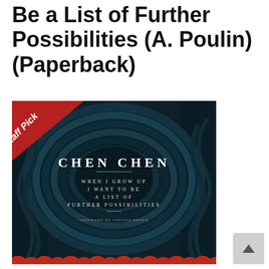Be a List of Further Possibilities (A. Poulin) (Paperback)
[Figure (photo): Book cover for 'When I Grow Up I Want to Be a List of Further Possibilities' by Chen Chen, published with foreword by Jericho Brown. Dark teal/navy layered papercut art background with swirling wave-like shapes and red petal shapes along the bottom. White text reads CHEN CHEN at top and WHEN I GROW UP / I WANT TO BE / A LIST OF / FURTHER POSSIBILITIES below. A red diagonal 'Staff Pick' banner in the top-left corner.]